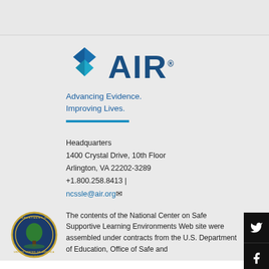[Figure (logo): AIR (American Institutes for Research) logo with diamond/chevron shape in blue and teal, followed by large bold AIR text with registered trademark symbol]
Advancing Evidence.
Improving Lives.
Headquarters
1400 Crystal Drive, 10th Floor
Arlington, VA 22202-3289
+1.800.258.8413 |
ncssle@air.org
[Figure (logo): U.S. Department of Education circular seal with tree and eagle]
The contents of the National Center on Safe Supportive Learning Environments Web site were assembled under contracts from the U.S. Department of Education, Office of Safe and